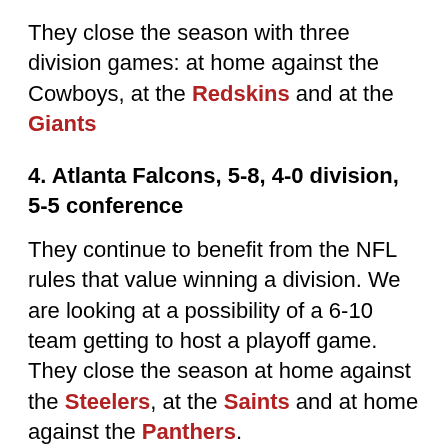They close the season with three division games: at home against the Cowboys, at the Redskins and at the Giants
4. Atlanta Falcons, 5-8, 4-0 division, 5-5 conference
They continue to benefit from the NFL rules that value winning a division. We are looking at a possibility of a 6-10 team getting to host a playoff game. They close the season at home against the Steelers, at the Saints and at home against the Panthers.
5. Seattle Seahawks, 9-4, 2-1 division, 7-2 conference
Seattle is right on the heels of the Cardinals. They finish the season at home against the 49ers, at the